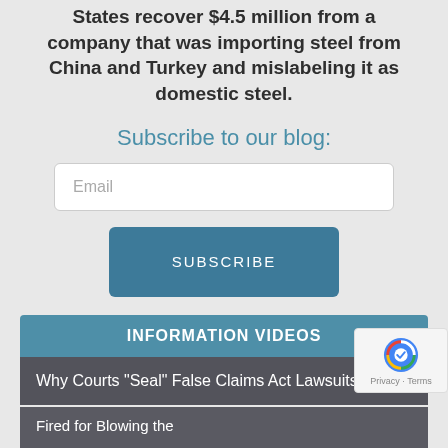States recover $4.5 million from a company that was importing steel from China and Turkey and mislabeling it as domestic steel.
Subscribe to our blog:
Email
SUBSCRIBE
[Figure (infographic): Information Videos section with teal header and two video items listed: 'Why Courts "Seal" False Claims Act Lawsuits' and 'Fired for Blowing the' (truncated)]